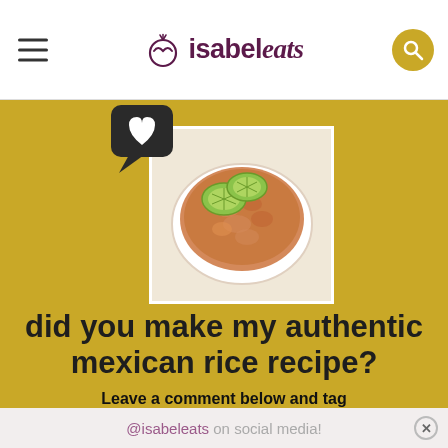isabel eats
[Figure (photo): Bowl of authentic Mexican rice topped with lime slices, photographed from above, with a dark speech bubble heart icon overlay in the top-left. Background is golden/mustard yellow.]
did you make my authentic mexican rice recipe?
Leave a comment below and tag
@isabeleats on social media!